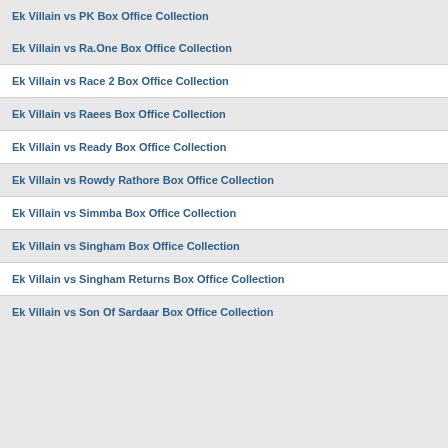Ek Villain vs PK Box Office Collection
Ek Villain vs Ra.One Box Office Collection
Ek Villain vs Race 2 Box Office Collection
Ek Villain vs Raees Box Office Collection
Ek Villain vs Ready Box Office Collection
Ek Villain vs Rowdy Rathore Box Office Collection
Ek Villain vs Simmba Box Office Collection
Ek Villain vs Singham Box Office Collection
Ek Villain vs Singham Returns Box Office Collection
Ek Villain vs Son Of Sardaar Box Office Collection